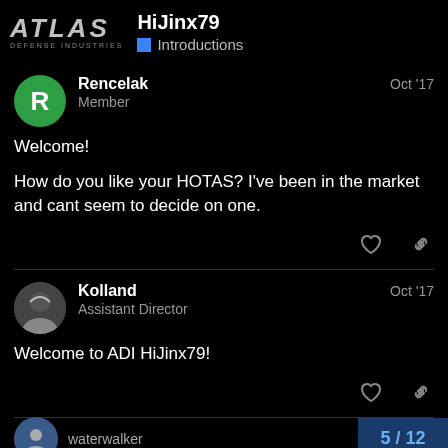HiJinx79 — Introductions
Rencelak
Member
Oct '17
Welcome!

How do you like your HOTAS? I've been in the market and cant seem to decide on one.
Kolland
Assistant Director
Oct '17
Welcome to ADI HiJinx79!
waterwalker
5 / 12